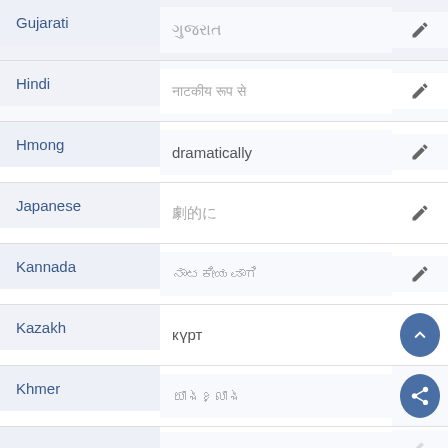| Language | Translation | Action |
| --- | --- | --- |
| Gujarati | ગુજરાત | edit |
| Hindi | नाटकीय रूप से | edit |
| Hmong | dramatically | edit |
| Japanese | 劇的に | edit |
| Kannada | ನಾಟಕೀಯವಾಗಿ | edit |
| Kazakh | күрт | scroll-up |
| Khmer | យ៉ាងខ្លាំង | share |
|  |  | edit |